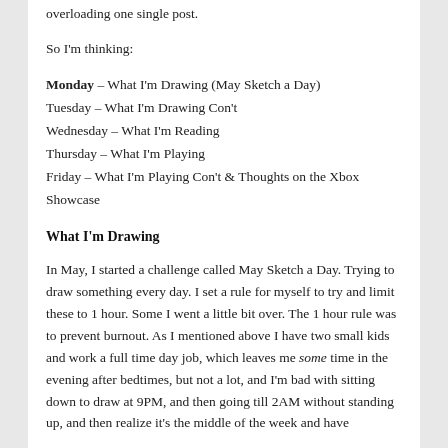overloading one single post.
So I'm thinking:
Monday – What I'm Drawing (May Sketch a Day)
Tuesday – What I'm Drawing Con't
Wednesday – What I'm Reading
Thursday – What I'm Playing
Friday – What I'm Playing Con't & Thoughts on the Xbox Showcase
What I'm Drawing
In May, I started a challenge called May Sketch a Day. Trying to draw something every day. I set a rule for myself to try and limit these to 1 hour. Some I went a little bit over. The 1 hour rule was to prevent burnout. As I mentioned above I have two small kids and work a full time day job, which leaves me some time in the evening after bedtimes, but not a lot, and I'm bad with sitting down to draw at 9PM, and then going till 2AM without standing up, and then realize it's the middle of the week and have